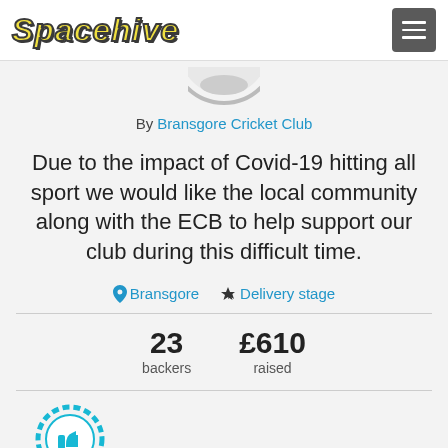[Figure (logo): Spacehive logo in bold yellow italic text with dark outline, top-left of page header]
[Figure (other): Hamburger menu button (three horizontal lines) in dark grey square, top-right of page header]
[Figure (other): Partial circular icon visible at top center of body]
By Bransgore Cricket Club
Due to the impact of Covid-19 hitting all sport we would like the local community along with the ECB to help support our club during this difficult time.
Bransgore   Delivery stage
23 backers
£610 raised
[Figure (other): Partial circular badge with thumbs up icon visible at bottom-left]